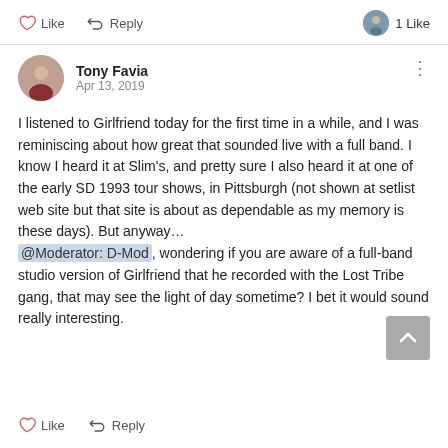[Figure (screenshot): Social media comment thread showing Like and Reply buttons at top, followed by a user comment from Tony Favia dated Apr 13, 2019, with Like and Reply buttons at the bottom.]
I listened to Girlfriend today for the first time in a while, and I was reminiscing about how great that sounded live with a full band. I know I heard it at Slim's, and pretty sure I also heard it at one of the early SD 1993 tour shows, in Pittsburgh (not shown at setlist web site but that site is about as dependable as my memory is these days). But anyway… @Moderator: D-Mod, wondering if you are aware of a full-band studio version of Girlfriend that he recorded with the Lost Tribe gang, that may see the light of day sometime? I bet it would sound really interesting.